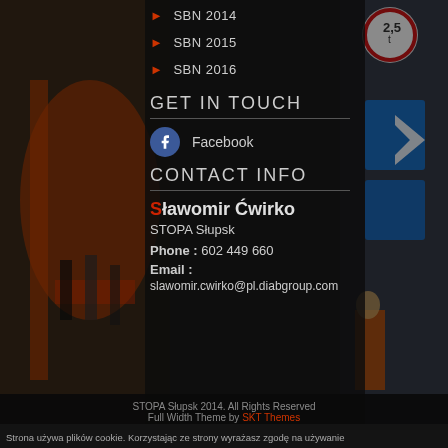[Figure (photo): Background photo of runners at a race start with orange arch on the left, and street signs on the right, dark overlay in center]
SBN 2014
SBN 2015
SBN 2016
GET IN TOUCH
Facebook
CONTACT INFO
Sławomir Ćwirko
STOPA Słupsk
Phone : 602 449 660
Email :
slawomir.cwirko@pl.diabgroup.com
STOPA Słupsk 2014. All Rights Reserved
Full Width Theme by SKT Themes
Strona używa plików cookie. Korzystając ze strony wyrażasz zgodę na używanie